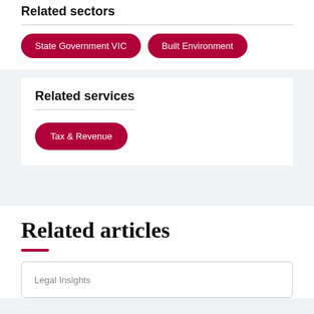Related sectors
State Government VIC
Built Environment
Related services
Tax & Revenue
Related articles
Legal Insights